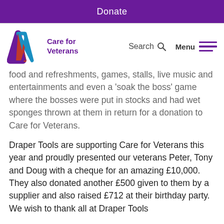Donate
[Figure (logo): Care for Veterans logo — purple, red and blue V shape with text 'Care for Veterans' in purple]
food and refreshments, games, stalls, live music and entertainments and even a 'soak the boss' game where the bosses were put in stocks and had wet sponges thrown at them in return for a donation to Care for Veterans.
Draper Tools are supporting Care for Veterans this year and proudly presented our veterans Peter, Tony and Doug with a cheque for an amazing £10,000. They also donated another £500 given to them by a supplier and also raised £712 at their birthday party. We wish to thank all at Draper Tools